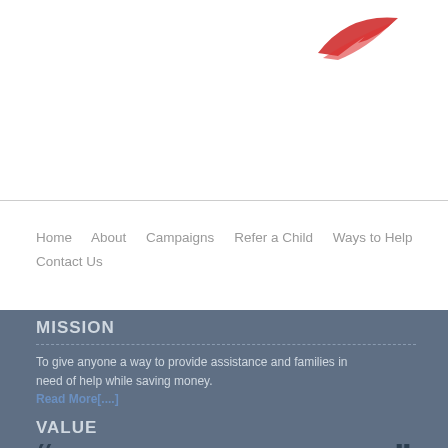[Figure (logo): Red swoosh/wing logo mark in upper right area]
Home   About   Campaigns   Refer a Child   Ways to Help   Contact Us
MISSION
To give anyone a way to provide assistance and families in need of help while saving money.
Read More[....]
VALUE
We create huge revenue every year to help us.